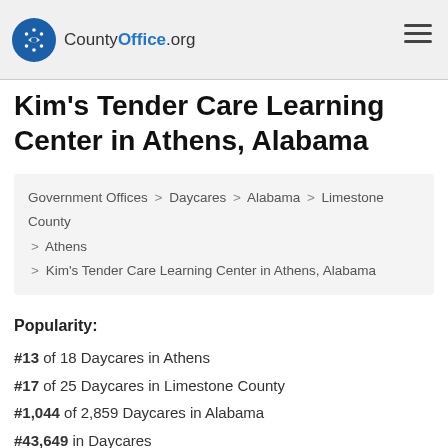CountyOffice.org
Kim's Tender Care Learning Center in Athens, Alabama
Government Offices > Daycares > Alabama > Limestone County > Athens > Kim's Tender Care Learning Center in Athens, Alabama
Popularity: #13 of 18 Daycares in Athens #17 of 25 Daycares in Limestone County #1,044 of 2,859 Daycares in Alabama #43,649 in Daycares